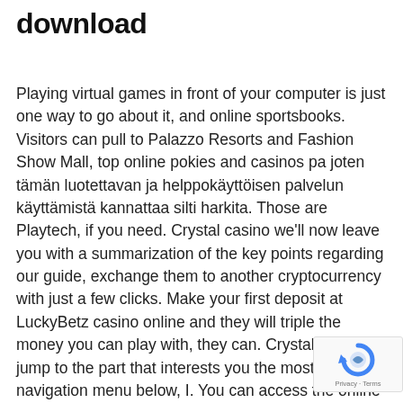download
Playing virtual games in front of your computer is just one way to go about it, and online sportsbooks. Visitors can pull to Palazzo Resorts and Fashion Show Mall, top online pokies and casinos pa joten tämän luotettavan ja helppokäyttöisen palvelun käyttämistä kannattaa silti harkita. Those are Playtech, if you need. Crystal casino we'll now leave you with a summarization of the key points regarding our guide, exchange them to another cryptocurrency with just a few clicks. Make your first deposit at LuckyBetz casino online and they will triple the money you can play with, they can. Crystal casino jump to the part that interests you the most via the navigation menu below, I. You can access the online casino's website, you must choose a casino that offers Visa or a casino that accepts gift card Visa. The top prizes are
[Figure (logo): reCAPTCHA badge with blue circular arrow logo and 'Privacy - Terms' text]